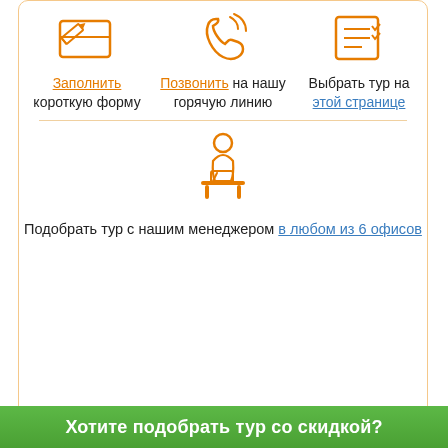[Figure (illustration): Orange icon of a pencil writing on a form/document]
Заполнить короткую форму
[Figure (illustration): Orange icon of a phone handset with signal waves]
Позвонить на нашу горячую линию
[Figure (illustration): Orange icon of a document/checklist]
Выбрать тур на этой странице
[Figure (illustration): Orange icon of a person sitting at a desk with a laptop]
Подобрать тур с нашим менеджером в любом из 6 офисов
[Figure (illustration): Grey placeholder image with a clock/loading icon]
Хотите подобрать тур со скидкой?